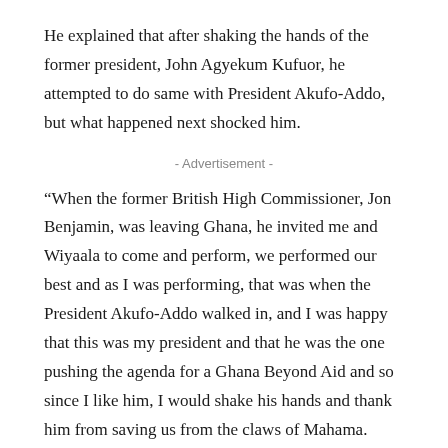He explained that after shaking the hands of the former president, John Agyekum Kufuor, he attempted to do same with President Akufo-Addo, but what happened next shocked him.
- Advertisement -
“When the former British High Commissioner, Jon Benjamin, was leaving Ghana, he invited me and Wiyaala to come and perform, we performed our best and as I was performing, that was when the President Akufo-Addo walked in, and I was happy that this was my president and that he was the one pushing the agenda for a Ghana Beyond Aid and so since I like him, I would shake his hands and thank him from saving us from the claws of Mahama.
He told the interviewer that when he attempted to greet Akufo-Addo an aide prevented him by giving him a hefty slap on the hand, which action gave him blisters.